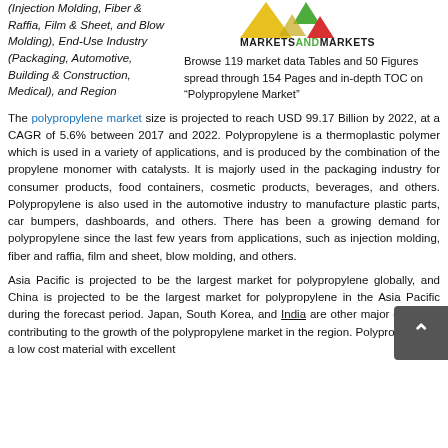(Injection Molding, Fiber & Raffia, Film & Sheet, and Blow Molding), End-Use Industry (Packaging, Automotive, Building & Construction, Medical), and Region
[Figure (logo): MarketsandMarkets logo with colorful geometric shapes above text]
Browse 119 market data Tables and 50 Figures spread through 154 Pages and in-depth TOC on “Polypropylene Market”
The polypropylene market size is projected to reach USD 99.17 Billion by 2022, at a CAGR of 5.6% between 2017 and 2022. Polypropylene is a thermoplastic polymer which is used in a variety of applications, and is produced by the combination of the propylene monomer with catalysts. It is majorly used in the packaging industry for consumer products, food containers, cosmetic products, beverages, and others. Polypropylene is also used in the automotive industry to manufacture plastic parts, car bumpers, dashboards, and others. There has been a growing demand for polypropylene since the last few years from applications, such as injection molding, fiber and raffia, film and sheet, blow molding, and others.
Asia Pacific is projected to be the largest market for polypropylene globally, and China is projected to be the largest market for polypropylene in the Asia Pacific during the forecast period. Japan, South Korea, and India are other major countries contributing to the growth of the polypropylene market in the region. Polypropylene is a low cost material with excellent properties.